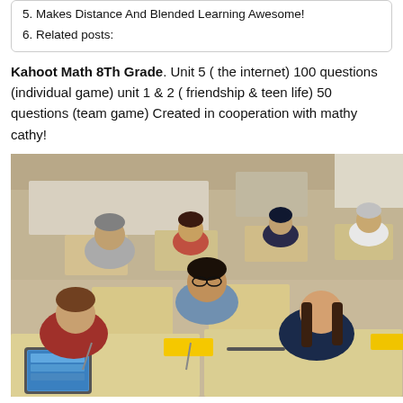5. Makes Distance And Blended Learning Awesome!
6. Related posts:
Kahoot Math 8Th Grade. Unit 5 ( the internet) 100 questions (individual game) unit 1 & 2 ( friendship & teen life) 50 questions (team game) Created in cooperation with mathy cathy!
[Figure (photo): Classroom photo showing middle school students using tablets/iPads at their desks during a class activity, with multiple students visible at various tables.]